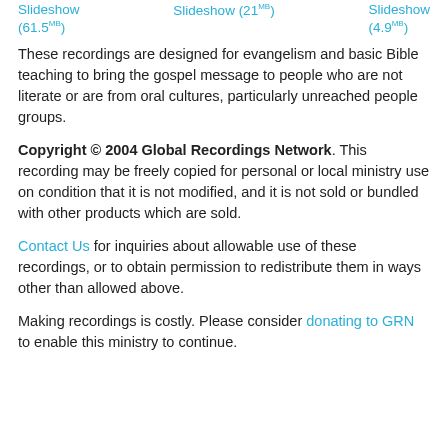Slideshow (61.5MB)   Slideshow (21MB)   Slideshow (4.9MB)
These recordings are designed for evangelism and basic Bible teaching to bring the gospel message to people who are not literate or are from oral cultures, particularly unreached people groups.
Copyright © 2004 Global Recordings Network. This recording may be freely copied for personal or local ministry use on condition that it is not modified, and it is not sold or bundled with other products which are sold.
Contact Us for inquiries about allowable use of these recordings, or to obtain permission to redistribute them in ways other than allowed above.
Making recordings is costly. Please consider donating to GRN to enable this ministry to continue.